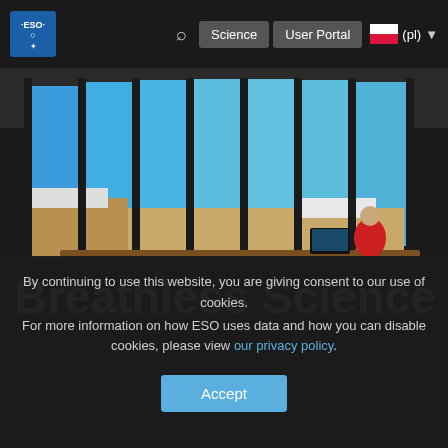ESO | Science | User Portal | (pl)
[Figure (photo): Interior of ESO building with large panoramic windows overlooking a high-altitude desert landscape. A person in a red jacket sits at a long wooden desk with a laptop, with snow-capped terrain and observatory buildings visible through floor-to-ceiling windows.]
Breathless Science
By continuing to use this website, you are giving consent to our use of cookies.
For more information on how ESO uses data and how you can disable cookies, please view our privacy policy.
Accept